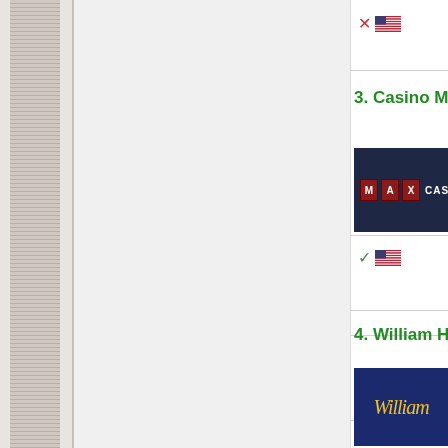[Figure (screenshot): Red X icon and US flag icon in top right area]
3. Casino Max
[Figure (logo): Casino Max logo on dark navy background with M A X tiles in red and CASINO text in white]
[Figure (screenshot): Green check icon and US flag icon]
4. William Hill C
[Figure (logo): William Hill Casino logo with cursive yellow script on dark navy background]